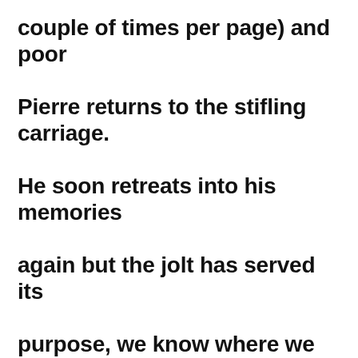couple of times per page) and poor Pierre returns to the stifling carriage. He soon retreats into his memories again but the jolt has served its purpose, we know where we are. Confused readers get bored and bored readers stop reading…